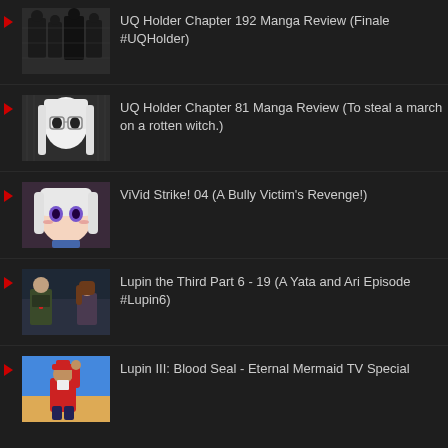UQ Holder Chapter 192 Manga Review (Finale #UQHolder)
UQ Holder Chapter 81 Manga Review (To steal a march on a rotten witch.)
ViVid Strike! 04 (A Bully Victim's Revenge!)
Lupin the Third Part 6 - 19 (A Yata and Ari Episode #Lupin6)
Lupin III: Blood Seal - Eternal Mermaid TV Special